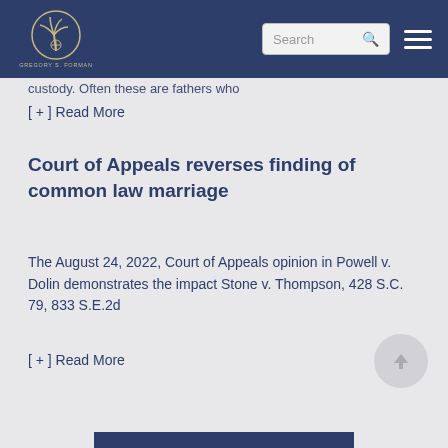Gregory S. Forman - Navigation bar with logo, search, and menu
custody. Often these are fathers who
[ + ] Read More
Court of Appeals reverses finding of common law marriage
The August 24, 2022, Court of Appeals opinion in Powell v. Dolin demonstrates the impact Stone v. Thompson, 428 S.C. 79, 833 S.E.2d
[ + ] Read More